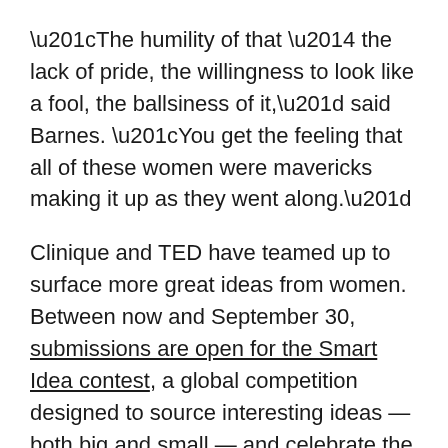“The humility of that — the lack of pride, the willingness to look like a fool, the ballsiness of it,” said Barnes. “You get the feeling that all of these women were mavericks making it up as they went along.”
Clinique and TED have teamed up to surface more great ideas from women. Between now and September 30, submissions are open for the Smart Idea contest, a global competition designed to source interesting ideas — both big and small — and celebrate the women behind them. The winner will receive $20,000 in funding for their idea, and an invitation to attend a TED event.
The guidelines are simple: share your idea in five hundred words or less. To paint a better portrait of the idea, you can also upload a photo or short